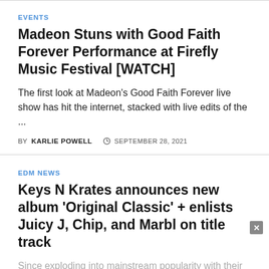EVENTS
Madeon Stuns with Good Faith Forever Performance at Firefly Music Festival [WATCH]
The first look at Madeon's Good Faith Forever live show has hit the internet, stacked with live edits of the ...
BY KARLIE POWELL  © SEPTEMBER 28, 2021
EDM NEWS
Keys N Krates announces new album 'Original Classic' + enlists Juicy J, Chip, and Marbl on title track
Since exploding into mainstream popularity with their trap anthem "Dum Dum Dum" in 2013, Keys N Krates...